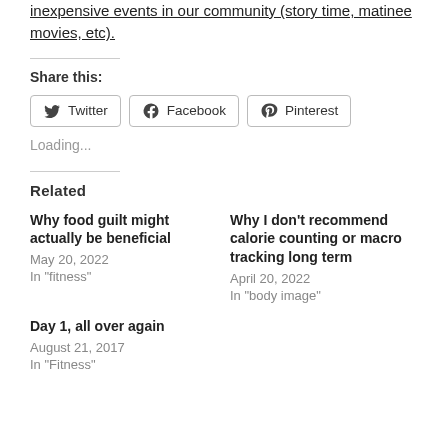inexpensive events in our community (story time, matinee movies, etc).
Share this:
Twitter  Facebook  Pinterest
Loading...
Related
Why food guild might actually be beneficial
May 20, 2022
In "fitness"
Why I don't recommend calorie counting or macro tracking long term
April 20, 2022
In "body image"
Day 1, all over again
August 21, 2017
In "Fitness"